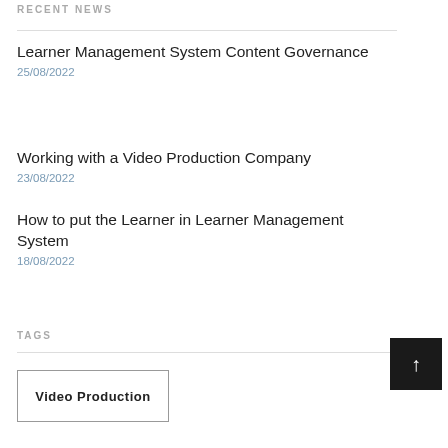RECENT NEWS
Learner Management System Content Governance
25/08/2022
Working with a Video Production Company
23/08/2022
How to put the Learner in Learner Management System
18/08/2022
TAGS
Video Production